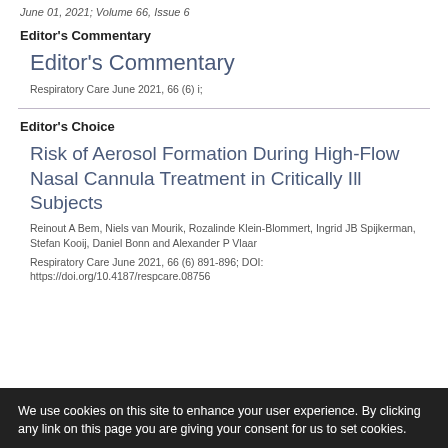June 01, 2021; Volume 66, Issue 6
Editor's Commentary
Editor's Commentary
Respiratory Care June 2021, 66 (6) i;
Editor's Choice
Risk of Aerosol Formation During High-Flow Nasal Cannula Treatment in Critically Ill Subjects
Reinout A Bem, Niels van Mourik, Rozalinde Klein-Blommert, Ingrid JB Spijkerman, Stefan Kooij, Daniel Bonn and Alexander P Vlaar
Respiratory Care June 2021, 66 (6) 891-896; DOI: https://doi.org/10.4187/respcare.08756
We use cookies on this site to enhance your user experience. By clicking any link on this page you are giving your consent for us to set cookies.